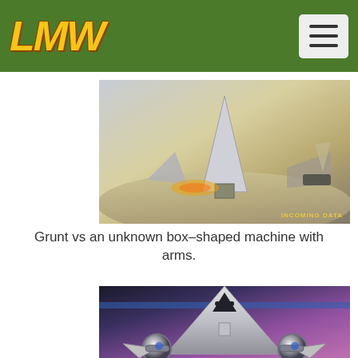LMW (logo) with hamburger menu button
[Figure (photo): Robot combat photo: Grunt vs an unknown box-shaped machine with arms on an arena floor. Watermark text 'INCOMING DATA' visible in bottom right corner.]
Grunt vs an unknown box-shaped machine with arms.
[Figure (photo): Close-up of a triangular wedge-shaped robot with metallic sphere weapons and blade attachments, in a combat arena with purple/blue background lighting.]